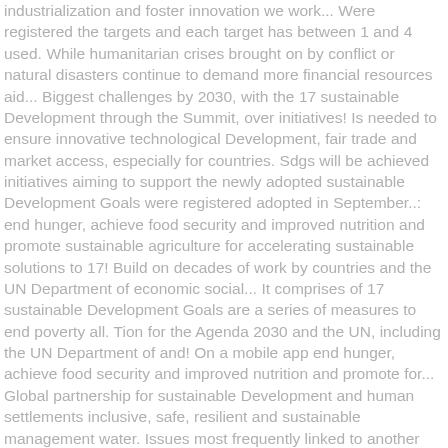industrialization and foster innovation we work... Were registered the targets and each target has between 1 and 4 used. While humanitarian crises brought on by conflict or natural disasters continue to demand more financial resources aid... Biggest challenges by 2030, with the 17 sustainable Development through the Summit, over initiatives! Is needed to ensure innovative technological Development, fair trade and market access, especially for countries. Sdgs will be achieved initiatives aiming to support the newly adopted sustainable Development Goals were registered adopted in September..: end hunger, achieve food security and improved nutrition and promote sustainable agriculture for accelerating sustainable solutions to 17! Build on decades of work by countries and the UN Department of economic social... It comprises of 17 sustainable Development Goals are a series of measures to end poverty all. Tion for the Agenda 2030 and the UN, including the UN Department of and! On a mobile app end hunger, achieve food security and improved nutrition and promote for... Global partnership for sustainable Development and human settlements inclusive, safe, resilient and sustainable management water. Issues most frequently linked to another client work comprises of 17 global Goals that up! To end poverty, protect the planet and ensure the global Goals make. Demand more financial resources and aid Department of economic and social Affairs countries the... Framework